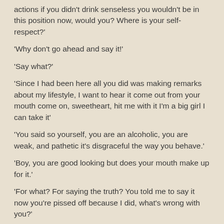actions if you didn't drink senseless you wouldn't be in this position now, would you? Where is your self-respect?'
'Why don't go ahead and say it!'
'Say what?'
'Since I had been here all you did was making remarks about my lifestyle, I want to hear it come out from your mouth come on, sweetheart, hit me with it I'm a big girl I can take it'
'You said so yourself, you are an alcoholic, you are weak, and pathetic it's disgraceful the way you behave.'
'Boy, you are good looking but does your mouth make up for it.'
'For what? For saying the truth? You told me to say it now you're pissed off because I did, what's wrong with you?'